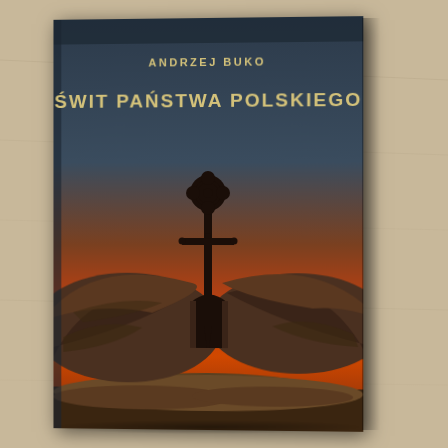[Figure (photo): A photograph of a book titled 'Świt Państwa Polskiego' by Andrzej Buko. The book cover shows a dark blue to orange gradient sky with stone ruins and an ornate cross silhouetted against the dramatic sunset sky. The book is resting on a light wooden surface.]
ANDRZEJ BUKO
ŚWIT PAŃSTWA POLSKIEGO